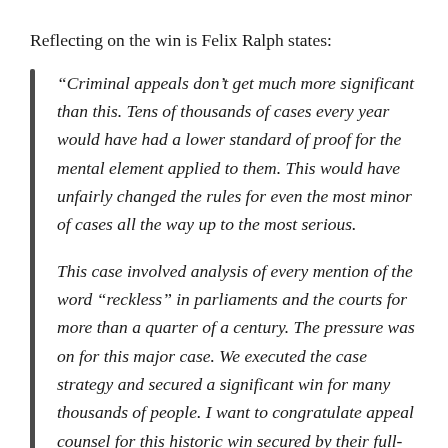Reflecting on the win is Felix Ralph states:
“Criminal appeals don’t get much more significant than this. Tens of thousands of cases every year would have had a lower standard of proof for the mental element applied to them. This would have unfairly changed the rules for even the most minor of cases all the way up to the most serious.

This case involved analysis of every mention of the word “reckless” in parliaments and the courts for more than a quarter of a century. The pressure was on for this major case. We executed the case strategy and secured a significant win for many thousands of people. I want to congratulate appeal counsel for this historic win secured by their full-throated